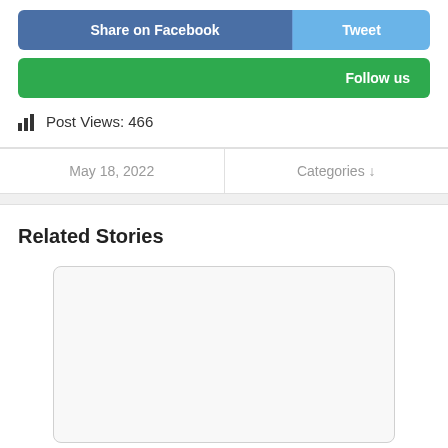[Figure (screenshot): Share on Facebook button (blue) and Tweet button (light blue) side by side]
[Figure (screenshot): Follow us button (green)]
Post Views: 466
May 18, 2022
Categories ↓
Related Stories
[Figure (photo): Empty/placeholder image for a related story]
How To Start Content A Scell...